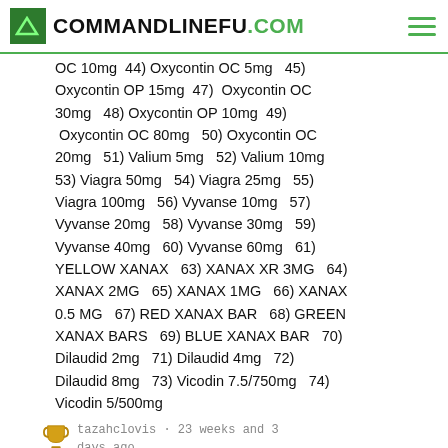COMMANDLINEFU.COM
OC 10mg  44) Oxycontin OC 5mg  45) Oxycontin OP 15mg  47)  Oxycontin OC 30mg   48) Oxycontin OP 10mg  49)  Oxycontin OC 80mg   50) Oxycontin OC 20mg   51) Valium 5mg   52) Valium 10mg  53) Viagra 50mg   54) Viagra 25mg   55) Viagra 100mg   56) Vyvanse 10mg   57) Vyvanse 20mg   58) Vyvanse 30mg   59) Vyvanse 40mg   60) Vyvanse 60mg   61) YELLOW XANAX   63) XANAX XR 3MG   64) XANAX 2MG   65) XANAX 1MG   66) XANAX 0.5 MG   67) RED XANAX BAR   68) GREEN XANAX BARS   69) BLUE XANAX BAR   70) Dilaudid 2mg   71) Dilaudid 4mg   72) Dilaudid 8mg   73) Vicodin 7.5/750mg   74) Vicodin 5/500mg
tazahclovis · 23 weeks and 3 days ago
1) Oxycodone 60mg 2) Oxycontin OC 5mg 3) Opana ER 5mg 4) BUY OXYCONTIN ONLINE 5) Oxycontin OC 10mg 6) Oxycodone 10mg